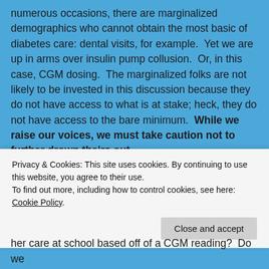numerous occasions, there are marginalized demographics who cannot obtain the most basic of diabetes care: dental visits, for example.  Yet we are up in arms over insulin pump collusion.  Or, in this case, CGM dosing.  The marginalized folks are not likely to be invested in this discussion because they do not have access to what is at stake; heck, they do not have access to the bare minimum.  While we raise our voices, we must take caution not to further drown theirs out.
In many of the presentations of the CGM dosing issue on social media, I saw big fish in the diabetes pond introducing the topic as, “Here, this is good, hop aboard and get involved!”.  This mindset is positive, for
Privacy & Cookies: This site uses cookies. By continuing to use this website, you agree to their use.
To find out more, including how to control cookies, see here: Cookie Policy
Close and accept
her care at school based off of a CGM reading?  Do we